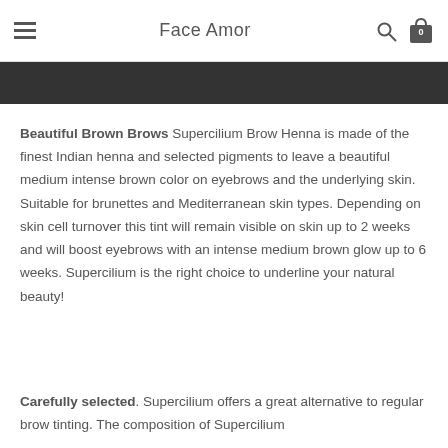Face Amor
[Figure (screenshot): Dark banner bar below navigation header]
Beautiful Brown Brows Supercilium Brow Henna is made of the finest Indian henna and selected pigments to leave a beautiful medium intense brown color on eyebrows and the underlying skin. Suitable for brunettes and Mediterranean skin types. Depending on skin cell turnover this tint will remain visible on skin up to 2 weeks and will boost eyebrows with an intense medium brown glow up to 6 weeks. Supercilium is the right choice to underline your natural beauty!
Carefully selected. Supercilium offers a great alternative to regular brow tinting. The composition of Supercilium